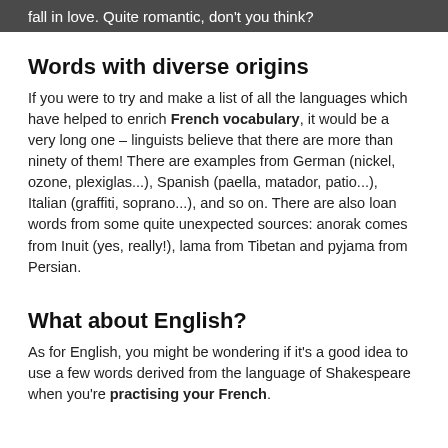fall in love. Quite romantic, don't you think?
Words with diverse origins
If you were to try and make a list of all the languages which have helped to enrich French vocabulary, it would be a very long one – linguists believe that there are more than ninety of them! There are examples from German (nickel, ozone, plexiglas...), Spanish (paella, matador, patio...), Italian (graffiti, soprano...), and so on. There are also loan words from some quite unexpected sources: anorak comes from Inuit (yes, really!), lama from Tibetan and pyjama from Persian.
What about English?
As for English, you might be wondering if it's a good idea to use a few words derived from the language of Shakespeare when you're practising your French.